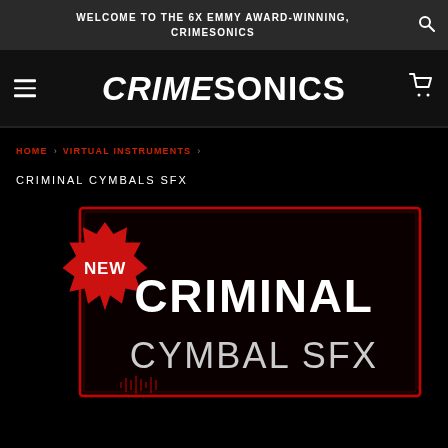WELCOME TO THE 6X EMMY AWARD-WINNING, CRIMESONICS
CRIMESONICS
HOME › VIRTUAL INSTRUMENTS ›
CRIMINAL CYMBALS SFX
[Figure (illustration): Product box art for 'Criminal Cymbal SFX' showing bold white text on black background with a red glow border and a red 'NEW' badge in the top-left corner]